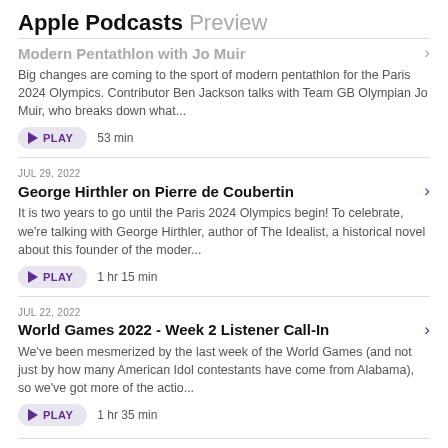Apple Podcasts Preview
Modern Pentathlon with Jo Muir
Big changes are coming to the sport of modern pentathlon for the Paris 2024 Olympics. Contributor Ben Jackson talks with Team GB Olympian Jo Muir, who breaks down what...
PLAY  53 min
JUL 29, 2022
George Hirthler on Pierre de Coubertin
It is two years to go until the Paris 2024 Olympics begin! To celebrate, we're talking with George Hirthler, author of The Idealist, a historical novel about this founder of the moder...
PLAY  1 hr 15 min
JUL 22, 2022
World Games 2022 - Week 2 Listener Call-In
We've been mesmerized by the last week of the World Games (and not just by how many American Idol contestants have come from Alabama), so we've got more of the actio...
PLAY  1 hr 35 min